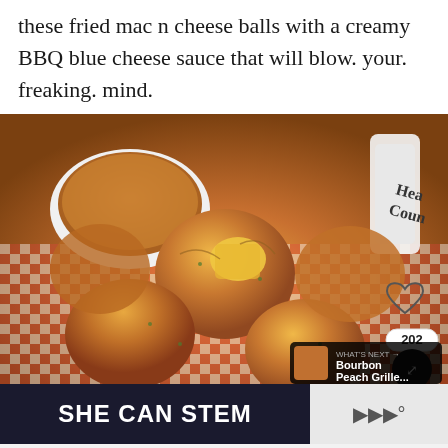these fried mac n cheese balls with a creamy BBQ blue cheese sauce that will blow. your. freaking. mind.
[Figure (photo): Close-up photo of golden fried mac and cheese balls piled on a red checkered cloth, with one broken open to reveal cheesy interior, a white dipping bowl with BBQ sauce, and a sauce bottle in background. UI overlays: heart icon, 202 count, share button, and 'What's Next → Bourbon Peach Grille...' card.]
SHE CAN STEM